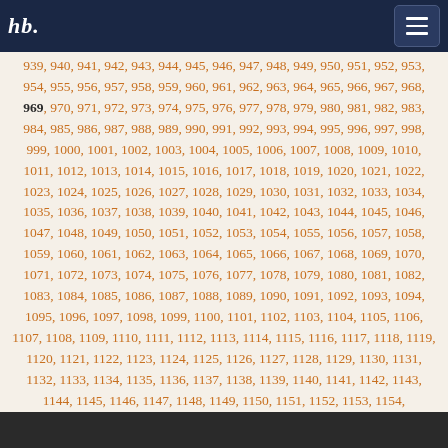hb. [logo with navigation menu]
939, 940, 941, 942, 943, 944, 945, 946, 947, 948, 949, 950, 951, 952, 953, 954, 955, 956, 957, 958, 959, 960, 961, 962, 963, 964, 965, 966, 967, 968, 969, 970, 971, 972, 973, 974, 975, 976, 977, 978, 979, 980, 981, 982, 983, 984, 985, 986, 987, 988, 989, 990, 991, 992, 993, 994, 995, 996, 997, 998, 999, 1000, 1001, 1002, 1003, 1004, 1005, 1006, 1007, 1008, 1009, 1010, 1011, 1012, 1013, 1014, 1015, 1016, 1017, 1018, 1019, 1020, 1021, 1022, 1023, 1024, 1025, 1026, 1027, 1028, 1029, 1030, 1031, 1032, 1033, 1034, 1035, 1036, 1037, 1038, 1039, 1040, 1041, 1042, 1043, 1044, 1045, 1046, 1047, 1048, 1049, 1050, 1051, 1052, 1053, 1054, 1055, 1056, 1057, 1058, 1059, 1060, 1061, 1062, 1063, 1064, 1065, 1066, 1067, 1068, 1069, 1070, 1071, 1072, 1073, 1074, 1075, 1076, 1077, 1078, 1079, 1080, 1081, 1082, 1083, 1084, 1085, 1086, 1087, 1088, 1089, 1090, 1091, 1092, 1093, 1094, 1095, 1096, 1097, 1098, 1099, 1100, 1101, 1102, 1103, 1104, 1105, 1106, 1107, 1108, 1109, 1110, 1111, 1112, 1113, 1114, 1115, 1116, 1117, 1118, 1119, 1120, 1121, 1122, 1123, 1124, 1125, 1126, 1127, 1128, 1129, 1130, 1131, 1132, 1133, 1134, 1135, 1136, 1137, 1138, 1139, 1140, 1141, 1142, 1143, 1144, 1145, 1146, 1147, 1148, 1149, 1150, 1151, 1152, 1153, 1154,